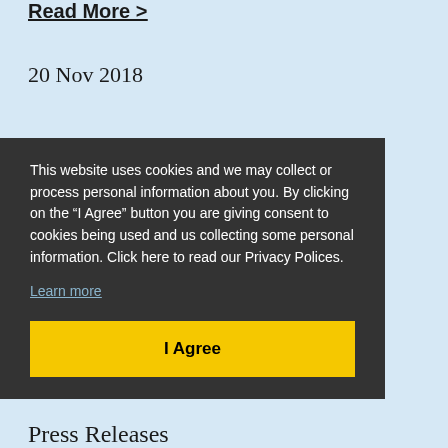Read More >
20 Nov 2018
This website uses cookies and we may collect or process personal information about you. By clicking on the “I Agree” button you are giving consent to cookies being used and us collecting some personal information. Click here to read our Privacy Polices.
Learn more
I Agree
Press Releases